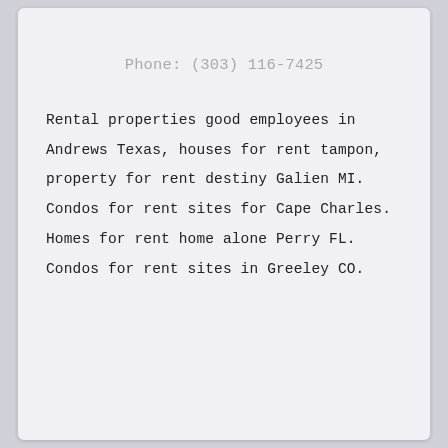Phone: (303) 116-7425
Rental properties good employees in Andrews Texas, houses for rent tampon, property for rent destiny Galien MI. Condos for rent sites for Cape Charles. Homes for rent home alone Perry FL. Condos for rent sites in Greeley CO.